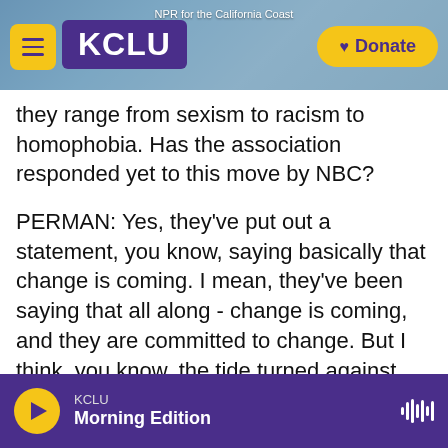[Figure (screenshot): KCLU NPR radio station mobile app header with logo, menu button, donate button, and coastal city background photo]
they range from sexism to racism to homophobia. Has the association responded yet to this move by NBC?
PERMAN: Yes, they've put out a statement, you know, saying basically that change is coming. I mean, they've been saying that all along - change is coming, and they are committed to change. But I think, you know, the tide turned against them. You know, following our investigations in the Globes, they made a lot of statements that they were going to do better, but it was followed by a lot of missteps. And so I think people were waiting to see
KCLU Morning Edition